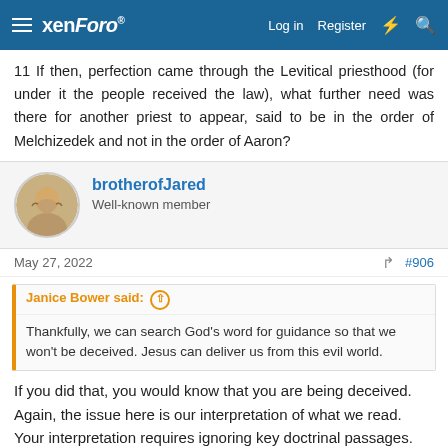xenForo — Log in Register
11 If then, perfection came through the Levitical priesthood (for under it the people received the law), what further need was there for another priest to appear, said to be in the order of Melchizedek and not in the order of Aaron?
brotherofJared — Well-known member
May 27, 2022 #906
Janice Bower said: ⊕ Thankfully, we can search God's word for guidance so that we won't be deceived. Jesus can deliver us from this evil world.
If you did that, you would know that you are being deceived. Again, the issue here is our interpretation of what we read. Your interpretation requires ignoring key doctrinal passages. That should raise aa alarm, but no. Sadly, 'tis better to remain in darkness.